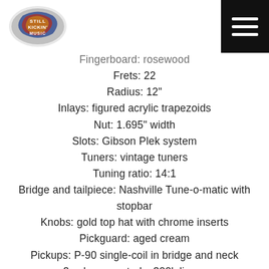Still Kickin Music logo and navigation menu
Fingerboard: rosewood
Frets: 22
Radius: 12"
Inlays: figured acrylic trapezoids
Nut: 1.695" width
Slots: Gibson Plek system
Tuners: vintage tuners
Tuning ratio: 14:1
Bridge and tailpiece: Nashville Tune-o-matic with stopbar
Knobs: gold top hat with chrome inserts
Pickguard: aged cream
Pickups: P-90 single-coil in bridge and neck
2 volume controls, 300k linear
2 tone controls, 500k non-linear
Toggle switch: Switchcraft (partially visible)